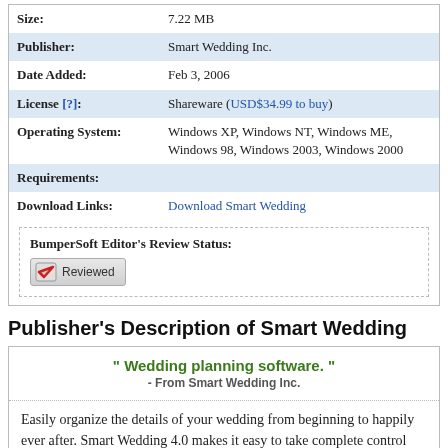| Field | Value |
| --- | --- |
| Size: | 7.22 MB |
| Publisher: | Smart Wedding Inc. |
| Date Added: | Feb 3, 2006 |
| License [?]: | Shareware (USD$34.99 to buy) |
| Operating System: | Windows XP, Windows NT, Windows ME, Windows 98, Windows 2003, Windows 2000 |
| Requirements: |  |
| Download Links: | Download Smart Wedding |
BumperSoft Editor's Review Status: Reviewed
Publisher's Description of Smart Wedding
" Wedding planning software. " - From Smart Wedding Inc.
Easily organize the details of your wedding from beginning to happily ever after. Smart Wedding 4.0 makes it easy to take complete control over your